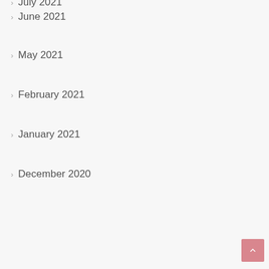July 2021
June 2021
May 2021
February 2021
January 2021
December 2020
November 2020
September 2020
August 2020
June 2020
May 2020
April 2020
March 2020
February 2020
January 2020
December 2019
November 2019